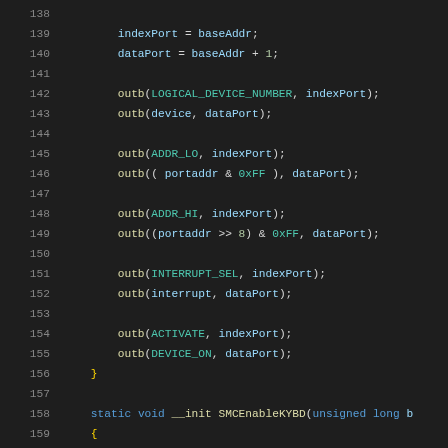Source code listing lines 138–159, C programming language, showing outb() function calls for hardware port configuration and start of SMCEnableKYBD function.